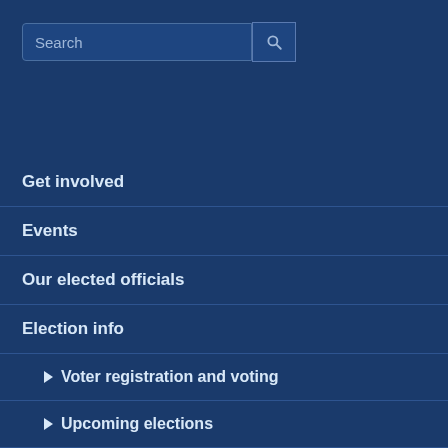[Figure (screenshot): Search input box with search button icon]
Get involved
Events
Our elected officials
Election info
Voter registration and voting
Upcoming elections
Our candidates